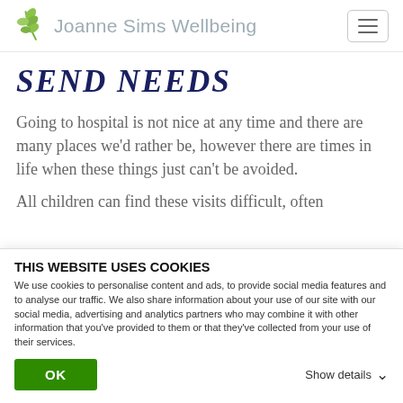Joanne Sims Wellbeing
SEND NEEDS
Going to hospital is not nice at any time and there are many places we'd rather be, however there are times in life when these things just can't be avoided.
All children can find these visits difficult, often
THIS WEBSITE USES COOKIES
We use cookies to personalise content and ads, to provide social media features and to analyse our traffic. We also share information about your use of our site with our social media, advertising and analytics partners who may combine it with other information that you've provided to them or that they've collected from your use of their services.
OK
Show details